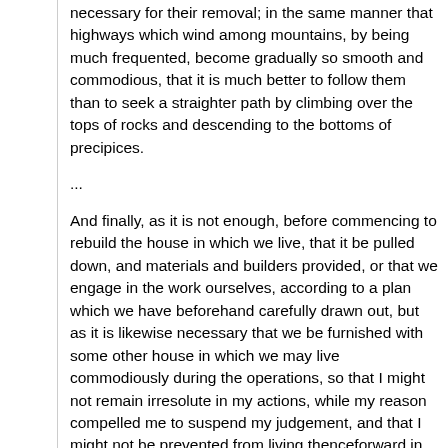necessary for their removal; in the same manner that highways which wind among mountains, by being much frequented, become gradually so smooth and commodious, that it is much better to follow them than to seek a straighter path by climbing over the tops of rocks and descending to the bottoms of precipices.
...
And finally, as it is not enough, before commencing to rebuild the house in which we live, that it be pulled down, and materials and builders provided, or that we engage in the work ourselves, according to a plan which we have beforehand carefully drawn out, but as it is likewise necessary that we be furnished with some other house in which we may live commodiously during the operations, so that I might not remain irresolute in my actions, while my reason compelled me to suspend my judgement, and that I might not be prevented from living thenceforward in the greatest possible felicity, I formed a provisory code of morals, composed of three or four maxims, with which I am desirous to